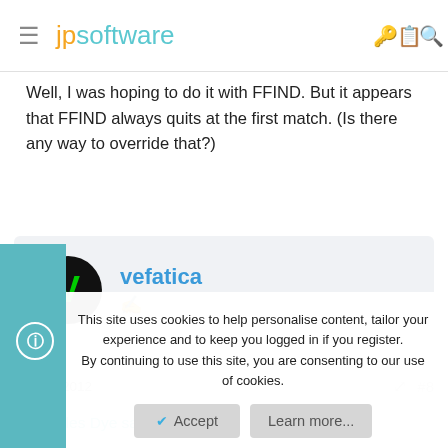≡ jpsoftware [icons: key, clipboard, search]
Well, I was hoping to do it with FFIND. But it appears that FFIND always quits at the first match. (Is there any way to override that?)
vefatica
Jan 20, 2012   #8
Charles Dye said:
This site uses cookies to help personalise content, tailor your experience and to keep you logged in if you register.
By continuing to use this site, you are consenting to our use of cookies.